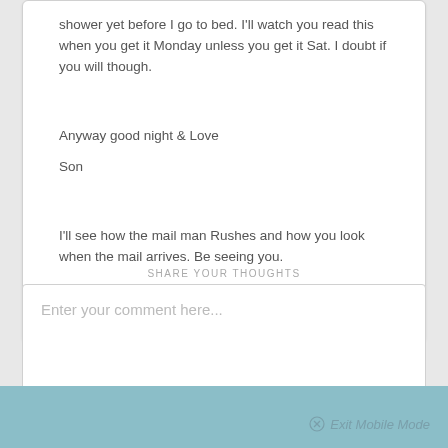shower yet before I go to bed. I'll watch you read this when you get it Monday unless you get it Sat. I doubt if you will though.
Anyway good night & Love
Son
I'll see how the mail man Rushes and how you look when the mail arrives. Be seeing you.
SHARE YOUR THOUGHTS
Enter your comment here...
Exit Mobile Mode